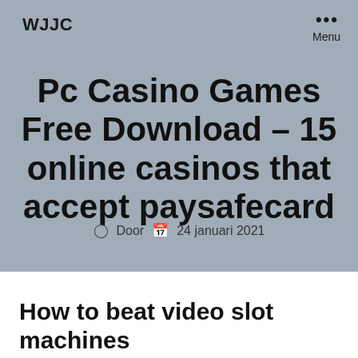WJJC
••• Menu
Pc Casino Games Free Download – 15 online casinos that accept paysafecard
Door   24 januari 2021
How to beat video slot machines